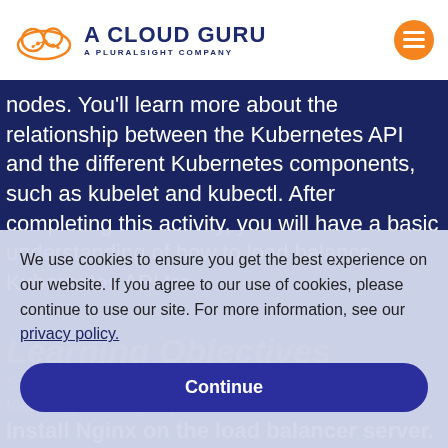A Cloud Guru — A Pluralsight Company
nodes. You'll learn more about the relationship between the Kubernetes API and the different Kubernetes components, such as kubelet and kubectl. After completing this activity, you will have a basic understanding of how to load balance Kubernetes API traffic.
Learning Objectives
Successfully complete this lab by achieving the following learning objectives:
We use cookies to ensure you get the best experience on our website. If you agree to our use of cookies, please continue to use our site. For more information, see our privacy policy.
Continue
Install Nginx on the load balancer server.